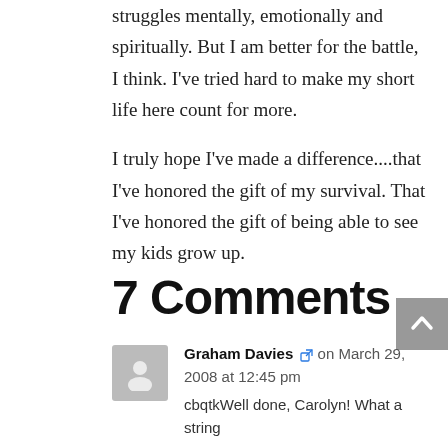struggles mentally, emotionally and spiritually. But I am better for the battle, I think. I've tried hard to make my short life here count for more.
I truly hope I've made a difference....that I've honored the gift of my survival. That I've honored the gift of being able to see my kids grow up.
7 Comments
Graham Davies on March 29, 2008 at 12:45 pm
cbqtkWell done, Carolyn! What a string